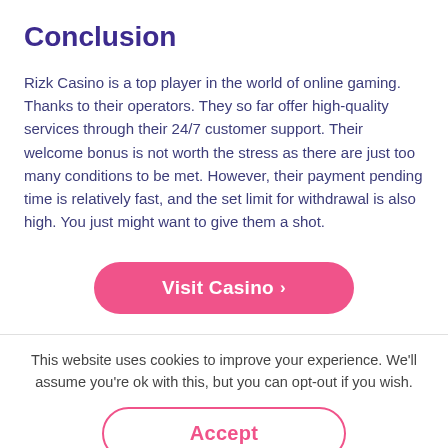Conclusion
Rizk Casino is a top player in the world of online gaming. Thanks to their operators. They so far offer high-quality services through their 24/7 customer support. Their welcome bonus is not worth the stress as there are just too many conditions to be met. However, their payment pending time is relatively fast, and the set limit for withdrawal is also high. You just might want to give them a shot.
[Figure (other): Pink rounded button with white text reading 'Visit Casino >']
This website uses cookies to improve your experience. We'll assume you're ok with this, but you can opt-out if you wish.
[Figure (other): White rounded button with pink border and pink text reading 'Accept']